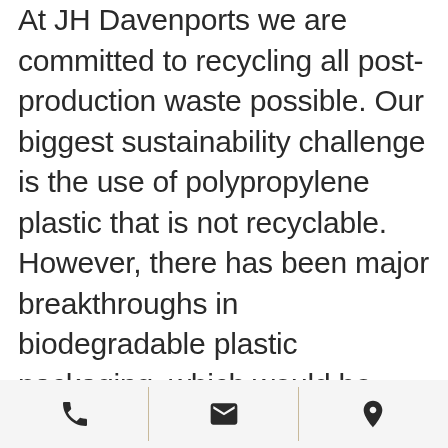At JH Davenports we are committed to recycling all post-production waste possible. Our biggest sustainability challenge is the use of polypropylene plastic that is not recyclable. However, there has been major breakthroughs in biodegradable plastic packaging, which would be something we would be interested in looking into when it comes to mainstream markets. At the moment we offer recycled paper on customer request,
[phone icon] [email icon] [location icon]